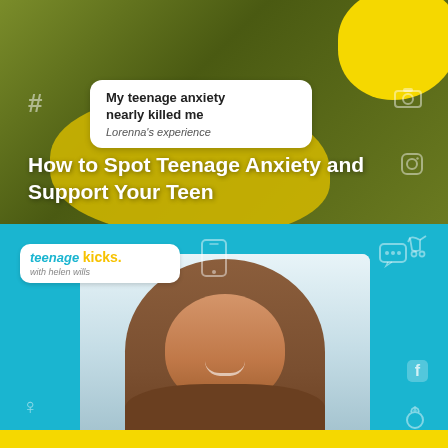[Figure (photo): Top half: a dark-haired teen/young person outdoors with blossoming trees, overlaid with yellow blobs and a white speech bubble reading 'My teenage anxiety nearly killed me, Lorenna's experience', on an olive/khaki background. Social media hashtag and camera icons visible.]
How to Spot Teenage Anxiety and Support Your Teen
[Figure (photo): Bottom half: teal/cyan background with the 'teenage kicks with helen wills' podcast logo badge top left. A smiling middle-aged woman with curly auburn hair and hoop earrings in the center. Social media icons (male/female gender symbols, phone, chat bubble, baby stroller, Facebook, ring) scattered around the edges. Yellow strip at bottom.]